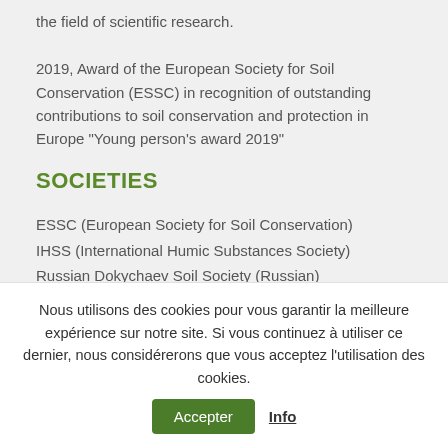the field of scientific research.
2019, Award of the European Society for Soil Conservation (ESSC) in recognition of outstanding contributions to soil conservation and protection in Europe "Young person's award 2019"
SOCIETIES
ESSC (European Society for Soil Conservation)
IHSS (International Humic Substances Society)
Russian Dokychaev Soil Society (Russian)
Nous utilisons des cookies pour vous garantir la meilleure expérience sur notre site. Si vous continuez à utiliser ce dernier, nous considérerons que vous acceptez l'utilisation des cookies.
Accepter  Info